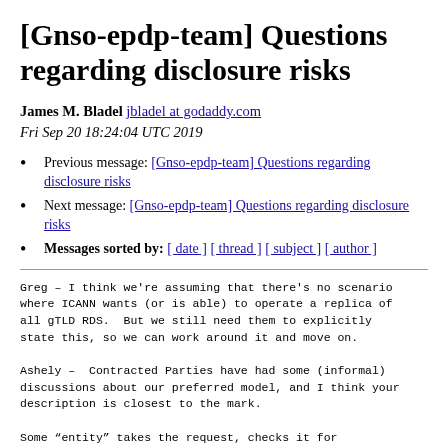[Gnso-epdp-team] Questions regarding disclosure risks
James M. Bladel jbladel at godaddy.com
Fri Sep 20 18:24:04 UTC 2019
Previous message: [Gnso-epdp-team] Questions regarding disclosure risks
Next message: [Gnso-epdp-team] Questions regarding disclosure risks
Messages sorted by: [ date ] [ thread ] [ subject ] [ author ]
Greg – I think we're assuming that there's no scenario where ICANN wants (or is able) to operate a replica of all gTLD RDS.  But we still need them to explicitly state this, so we can work around it and move on.

Ashely –  Contracted Parties have had some (informal) discussions about our preferred model, and I think your description is closest to the mark.

Some “entity” takes the request, checks it for accuracy/validity, and then relays it to the appropriate Contracted Party.  The CP then responds to